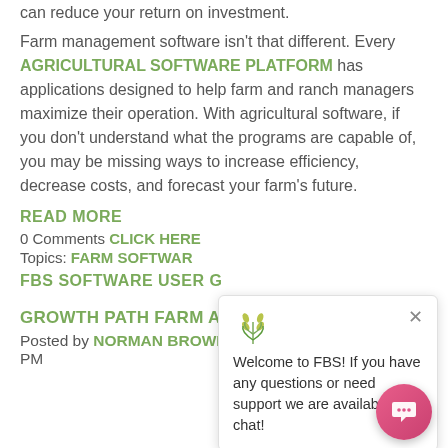can reduce your return on investment.
Farm management software isn't that different. Every AGRICULTURAL SOFTWARE PLATFORM has applications designed to help farm and ranch managers maximize their operation. With agricultural software, if you don't understand what the programs are capable of, you may be missing ways to increase efficiency, decrease costs, and forecast your farm's future.
READ MORE
0 Comments CLICK HERE
Topics: FARM SOFTWARE FBS SOFTWARE USER G
GROWTH PATH FARM ACCOUNTING III
Posted by NORMAN BROWN on Fri, Mar 28, 2014 @
PM
[Figure (screenshot): Chat popup from FBS with wheat/grain logo icon and close button, containing text: Welcome to FBS! If you have any questions or need support we are available to chat!]